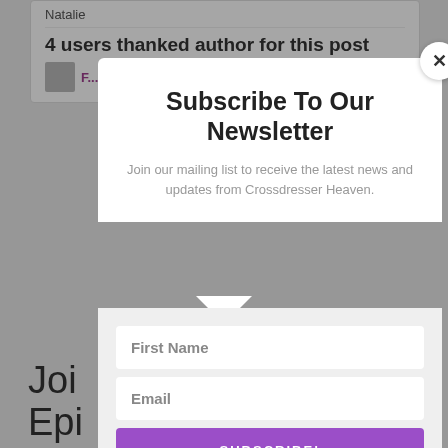Natalie
4 users thanked author for this post
Subscribe To Our Newsletter
Join our mailing list to receive the latest news and updates from Crossdresser Heaven.
First Name
Email
SUBSCRIBE!
We hate spam too, unsubscribe at any time.
Joi
Epi